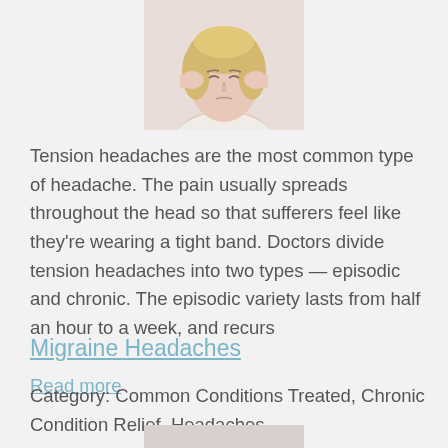[Figure (photo): Woman with hands on temples, appearing to have a headache, blonde hair, light background]
Tension headaches are the most common type of headache. The pain usually spreads throughout the head so that sufferers feel like they're wearing a tight band. Doctors divide tension headaches into two types — episodic and chronic. The episodic variety lasts from half an hour to a week, and recurs
Read more
Migraine Headaches
Category: Common Conditions Treated, Chronic Condition Relief, Headaches
[Figure (photo): Person with dark hair, partially visible at bottom of page]